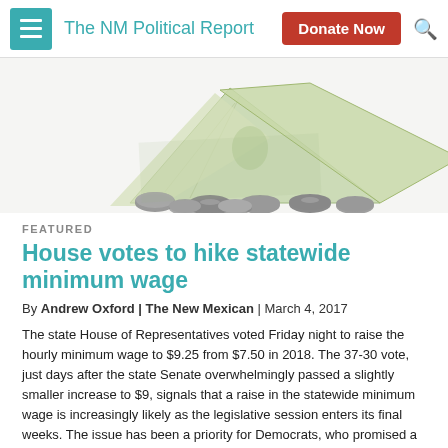The NM Political Report
[Figure (photo): Dollar bills folded tent-like over scattered coins on a white background]
FEATURED
House votes to hike statewide minimum wage
By Andrew Oxford | The New Mexican | March 4, 2017
The state House of Representatives voted Friday night to raise the hourly minimum wage to $9.25 from $7.50 in 2018. The 37-30 vote, just days after the state Senate overwhelmingly passed a slightly smaller increase to $9, signals that a raise in the statewide minimum wage is increasingly likely as the legislative session enters its final weeks. The issue has been a priority for Democrats, who promised a raise during last year's election, but it also has won some support from Republicans. The House vote on HB 442 was not strictly along